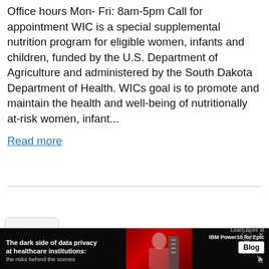Office hours Mon- Fri: 8am-5pm Call for appointment WIC is a special supplemental nutrition program for eligible women, infants and children, funded by the U.S. Department of Agriculture and administered by the South Dakota Department of Health. WICs goal is to promote and maintain the health and well-being of nutritionally at-risk women, infant...
Read more
[Figure (screenshot): Advertisement banner: 'The dark side of data privacy at healthcare institutions: the risks behind the scenes' with IBM Power10 for Epic branding and Blog button]